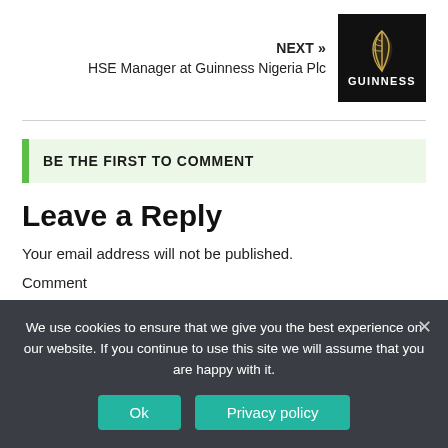NEXT » HSE Manager at Guinness Nigeria Plc
[Figure (logo): Guinness logo with golden harp on black background]
BE THE FIRST TO COMMENT
Leave a Reply
Your email address will not be published.
Comment
We use cookies to ensure that we give you the best experience on our website. If you continue to use this site we will assume that you are happy with it.